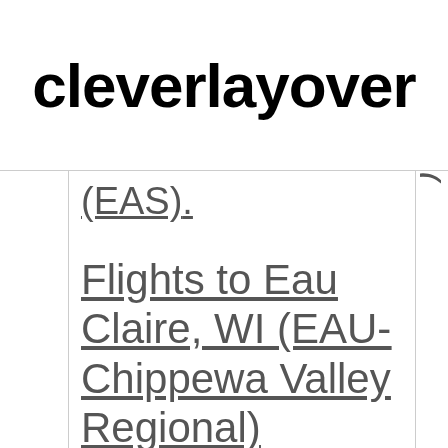cleverlayover
(EAS)
Flights to Eau Claire, WI (EAU-Chippewa Valley Regional)